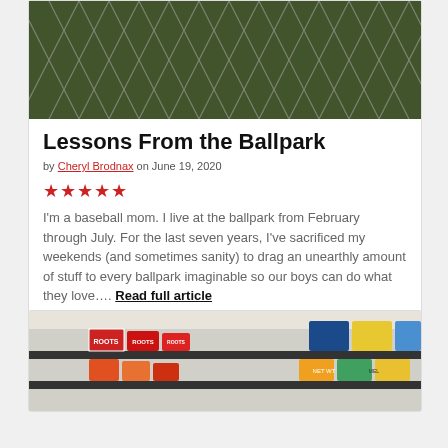[Figure (photo): Chain-link fence with green grass/field visible in background]
Lessons From the Ballpark
by Cheryl Brodnax on June 19, 2020
★★★★★
I'm a baseball mom. I live at the ballpark from February through July. For the last seven years, I've sacrificed my weekends (and sometimes sanity) to drag an unearthly amount of stuff to every ballpark imaginable so our boys can do what they love.... Read full article
[Figure (photo): Grocery store shelf with various food product boxes]